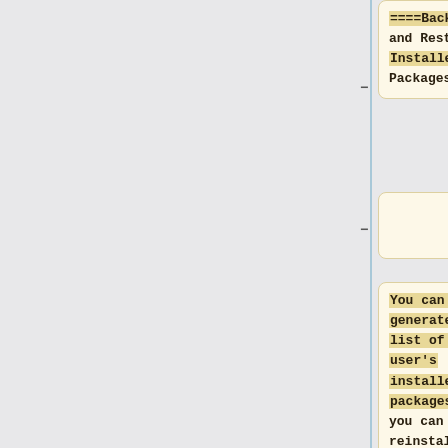====Backup and Restore Installed Packages====
You can also generate a list of the user's installed packages so you can reinstall them all at once later using a single command.